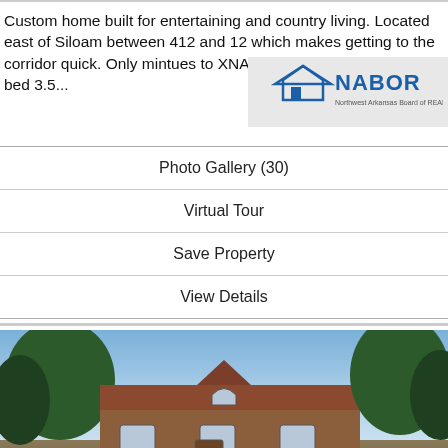Custom home built for entertaining and country living. Located east of Siloam between 412 and 12 which makes getting to the corridor quick. Only mintues to XNA. Main house is 4344 sf (4 bed 3.5...
[Figure (logo): NABOR logo with house icon]
| Photo Gallery (30) |
| Virtual Tour |
| Save Property |
| View Details |
[Figure (photo): Exterior photo of a custom home with brown/red siding, peaked roof with gable, surrounded by trees under a blue sky]